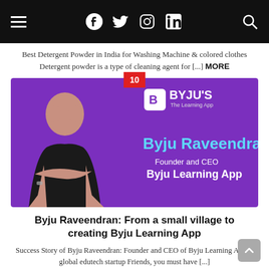Navigation bar with hamburger menu, Facebook, Twitter, Instagram, LinkedIn icons, and search icon
Best Detergent Powder in India for Washing Machine & colored clothes Detergent powder is a type of cleaning agent for [...] MORE
[Figure (photo): Purple promotional banner for BYJU'S The Learning App featuring Byju Raveendran, Founder and CEO, Byju Learning App. Number badge 10 on top. Person shown with arms crossed.]
Byju Raveendran: From a small village to creating Byju Learning App
Success Story of Byju Raveendran: Founder and CEO of Byju Learning App, a global edutech startup Friends, you must have [...] MORE